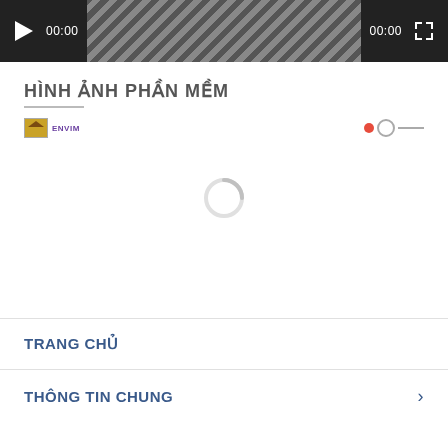[Figure (screenshot): Video player bar with play button, 00:00 timestamp, striped progress bar, 00:00 end time, and fullscreen button on dark background]
HÌNH ẢNH PHẦN MỀM
[Figure (screenshot): Two logos: left is ENVIM logo with golden icon, right is a red dot with circle and line element. A loading spinner is visible in the center of the content area.]
TRANG CHỦ
THÔNG TIN CHUNG